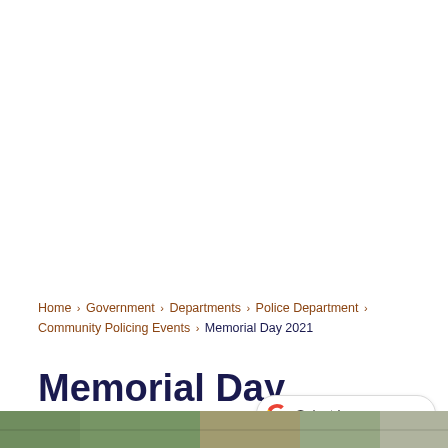Home › Government › Departments › Police Department › Community Policing Events › Memorial Day 2021
Memorial Day 2021
[Figure (photo): Bottom strip showing a partial outdoor photo, appears to be a memorial day event with green foliage and people]